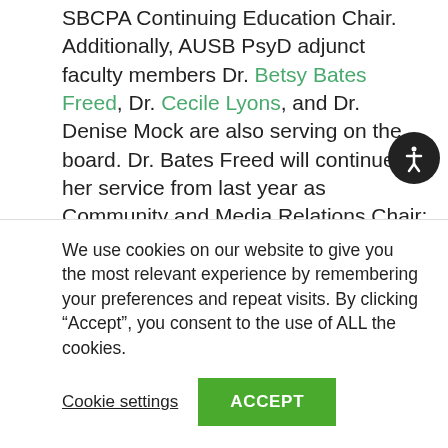SBCPA Continuing Education Chair. Additionally, AUSB PsyD adjunct faculty members Dr. Betsy Bates Freed, Dr. Cecile Lyons, and Dr. Denise Mock are also serving on the board. Dr. Bates Freed will continue her service from last year as Community and Media Relations Chair; Dr. Mock will serve as Social Committee Chair; and Dr. Lyons is continuing her service from last year as Membership Chair.
AUSB faculty have been serving on the local board for many years in various capacities. Dr.
We use cookies on our website to give you the most relevant experience by remembering your preferences and repeat visits. By clicking “Accept”, you consent to the use of ALL the cookies.